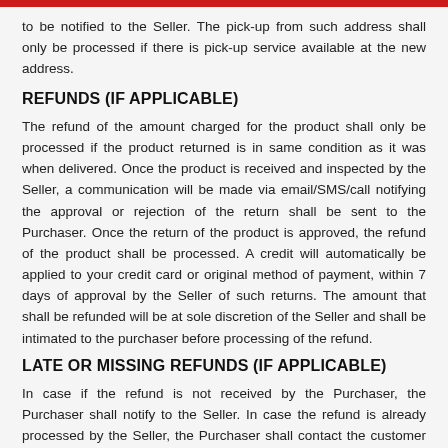to be notified to the Seller. The pick-up from such address shall only be processed if there is pick-up service available at the new address.
REFUNDS (IF APPLICABLE)
The refund of the amount charged for the product shall only be processed if the product returned is in same condition as it was when delivered. Once the product is received and inspected by the Seller, a communication will be made via email/SMS/call notifying the approval or rejection of the return shall be sent to the Purchaser. Once the return of the product is approved, the refund of the product shall be processed. A credit will automatically be applied to your credit card or original method of payment, within 7 days of approval by the Seller of such returns. The amount that shall be refunded will be at sole discretion of the Seller and shall be intimated to the purchaser before processing of the refund.
LATE OR MISSING REFUNDS (IF APPLICABLE)
In case if the refund is not received by the Purchaser, the Purchaser shall notify to the Seller. In case the refund is already processed by the Seller, the Purchaser shall contact the customer care of the bank